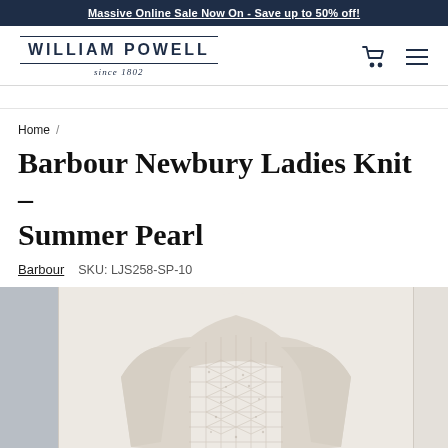Massive Online Sale Now On - Save up to 50% off!
[Figure (logo): William Powell since 1802 brand logo with shopping cart and hamburger menu icons]
Home /
Barbour Newbury Ladies Knit - Summer Pearl
Barbour   SKU: LJS258-SP-10
[Figure (photo): Product photo of a cream/pearl coloured Barbour Newbury Ladies knit sweater with decorative knit pattern on a light background]